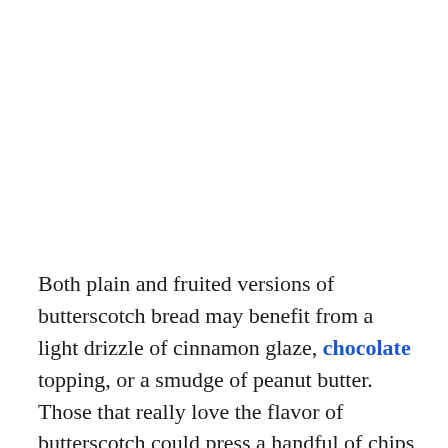Both plain and fruited versions of butterscotch bread may benefit from a light drizzle of cinnamon glaze, chocolate topping, or a smudge of peanut butter. Those that really love the flavor of butterscotch could press a handful of chips into the top of the pastry while it is still warm. The chips should melt slightly,